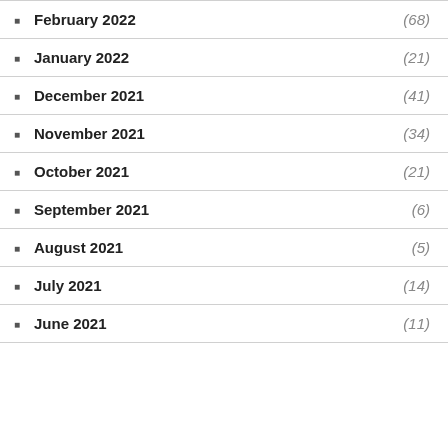February 2022 (68)
January 2022 (21)
December 2021 (41)
November 2021 (34)
October 2021 (21)
September 2021 (6)
August 2021 (5)
July 2021 (14)
June 2021 (11)